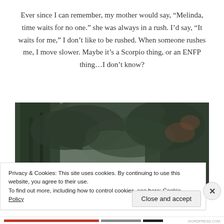Ever since I can remember, my mother would say, “Melinda, time waits for no one.” she was always in a rush. I’d say, “It waits for me,” I don’t like to be rushed. When someone rushes me, I move slower. Maybe it’s a Scorpio thing, or an ENFP thing…I don’t know?
[Figure (photo): A forest scene with dense green trees and foliage, misty/dark atmosphere, taken from below looking up through the canopy]
Privacy & Cookies: This site uses cookies. By continuing to use this website, you agree to their use.
To find out more, including how to control cookies, see here: Cookie Policy